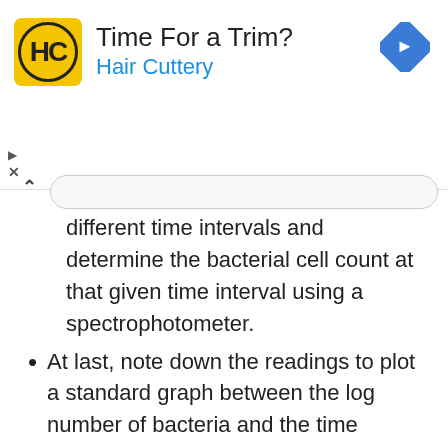[Figure (other): Advertisement banner for Hair Cuttery with yellow logo, title 'Time For a Trim?', subtitle 'Hair Cuttery', blue navigation arrow icon, play/close controls, and a search bar with caret.]
different time intervals and determine the bacterial cell count at that given time interval using a spectrophotometer.
At last, note down the readings to plot a standard graph between the log number of bacteria and the time interval.
There are distinct four phases in the growth curve of bacteria.
1. Lag phase